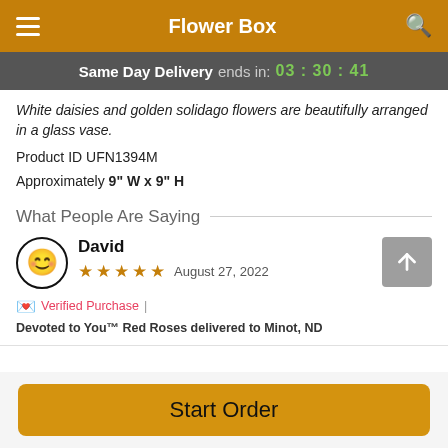Flower Box
Same Day Delivery ends in: 03 : 30 : 41
White daisies and golden solidago flowers are beautifully arranged in a glass vase.
Product ID UFN1394M
Approximately 9" W x 9" H
What People Are Saying
David
★★★★★ August 27, 2022
🌺 Verified Purchase | Devoted to You™ Red Roses delivered to Minot, ND
Start Order